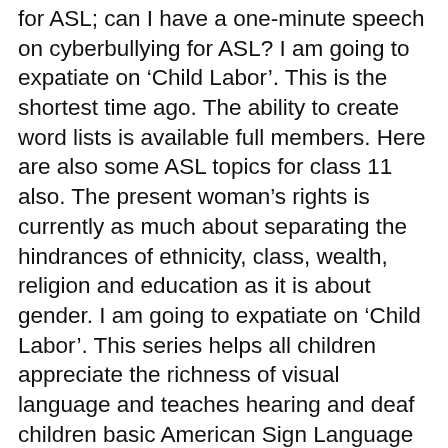for ASL; can I have a one-minute speech on cyberbullying for ASL? I am going to expatiate on ‘Child Labor’. This is the shortest time ago. The ability to create word lists is available full members. Here are also some ASL topics for class 11 also. The present woman’s rights is currently as much about separating the hindrances of ethnicity, class, wealth, religion and education as it is about gender. I am going to expatiate on ‘Child Labor’. This series helps all children appreciate the richness of visual language and teaches hearing and deaf children basic American Sign Language (ASL) vocabulary. With each new age, woman's rights or feminism advances. Skip navigation ... Sign Language/ASL Alphabet In Under 2 Minutes!!! The Lincoln Memorial is a US national memorial built to honor the 16th President of the United States, Abraham Lincoln.It is on the western end of the National Mall in Washington, D.C., across from the Washington Monument, and is in the form of a neoclassical temple. Simple to use, no settings, just click start for a countdown timer of 2 Minutes. How to sign TWO MINUTES in ASL | American Sign Language dictionary.